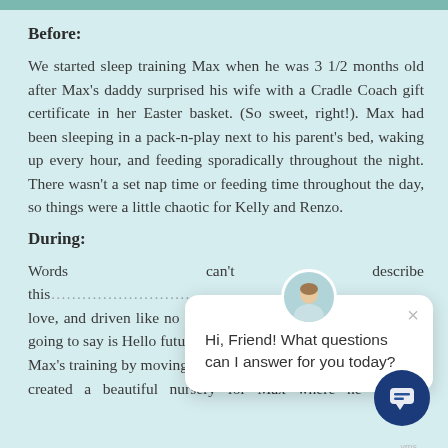Before:
We started sleep training Max when he was 3 1/2 months old after Max's daddy surprised his wife with a Cradle Coach gift certificate in her Easter basket. (So sweet, right!). Max had been sleeping in a pack-n-play next to his parent's bed, waking up every hour, and feeding sporadically throughout the night. There wasn't a set nap time or feeding time throughout the day, so things were a little chaotic for Kelly and Renzo.
During:
Words can't describe this [baby] … love, and driven like no other baby I have ever met – all I am going to say is Hello future Mr. President!? We sta[rted] Max's training by moving him to HIS crib, in HIS roo[m]… created a beautiful nursery for Max where he was…
[Figure (screenshot): Chat popup overlay with avatar photo of a woman, close button (×), and text 'Hi, Friend! What questions can I answer for you today?'. A dark blue circular chat button appears at bottom right.]